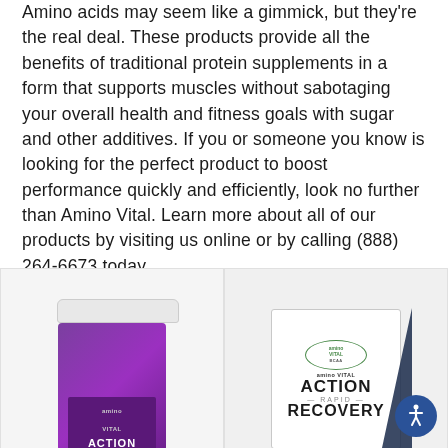Amino acids may seem like a gimmick, but they're the real deal. These products provide all the benefits of traditional protein supplements in a form that supports muscles without sabotaging your overall health and fitness goals with sugar and other additives. If you or someone you know is looking for the perfect product to boost performance quickly and efficiently, look no further than Amino Vital. Learn more about all of our products by visiting us online or by calling (888) 264-6673 today.
[Figure (photo): Amino Vital ACTION product jar with purple label, showing the bottom portion of the jar]
[Figure (photo): Amino Vital ACTION RAPID RECOVERY product box with white packaging and green circular logo badge, with dark blue triangle accent]